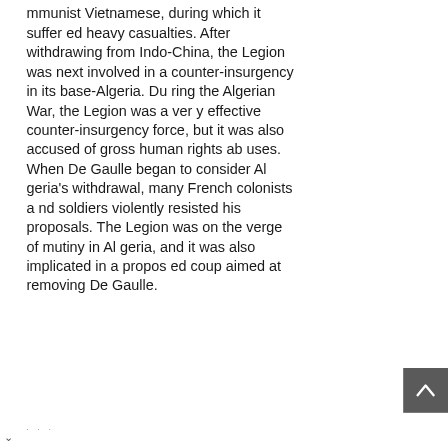mmunist Vietnamese, during which it suffered heavy casualties. After withdrawing from Indo-China, the Legion was next involved in a counter-insurgency in its base-Algeria. During the Algerian War, the Legion was a very effective counter-insurgency force, but it was also accused of gross human rights abuses. When De Gaulle began to consider Algeria's withdrawal, many French colonists and soldiers violently resisted his proposals. The Legion was on the verge of mutiny in Algeria, and it was also implicated in a proposed coup aimed at removing De Gaulle.
[Figure (other): Back to top button with upward pointing chevron/arrow icon on dark grey background]